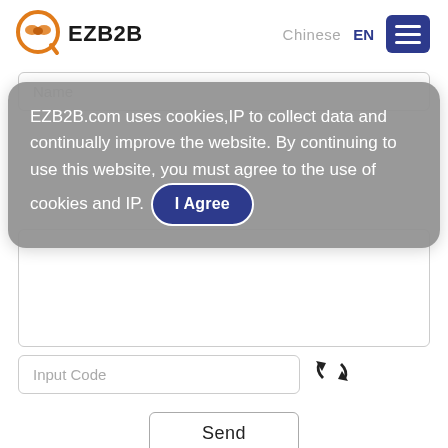[Figure (logo): EZB2B logo with handshake icon in orange circle with magnifying glass handle, text reads EZB2B]
Chinese  EN
[Figure (other): Hamburger menu button with three white lines on dark navy background]
Name
EZB2B.com uses cookies,IP to collect data and continually improve the website. By continuing to use this website, you must agree to the use of cookies and IP.  I Agree
Input Code
[Figure (other): Refresh/cycle arrows icon in black]
Send